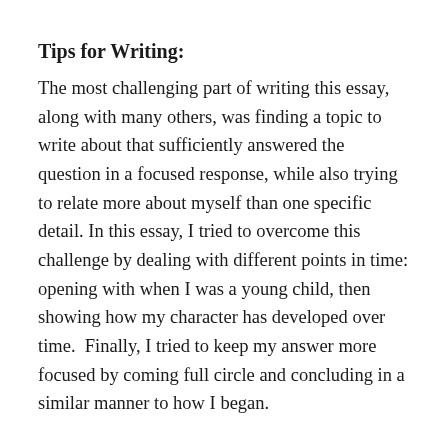Tips for Writing:
The most challenging part of writing this essay, along with many others, was finding a topic to write about that sufficiently answered the question in a focused response, while also trying to relate more about myself than one specific detail. In this essay, I tried to overcome this challenge by dealing with different points in time: opening with when I was a young child, then showing how my character has developed over time.  Finally, I tried to keep my answer more focused by coming full circle and concluding in a similar manner to how I began.